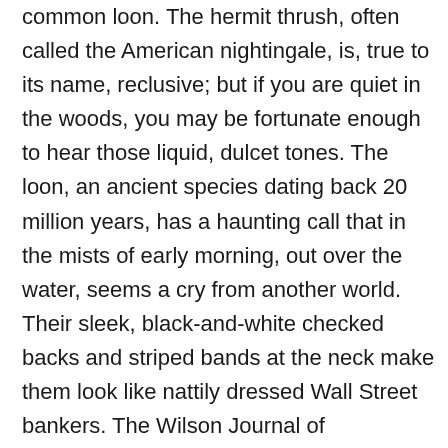common loon. The hermit thrush, often called the American nightingale, is, true to its name, reclusive; but if you are quiet in the woods, you may be fortunate enough to hear those liquid, dulcet tones. The loon, an ancient species dating back 20 million years, has a haunting call that in the mists of early morning, out over the water, seems a cry from another world. Their sleek, black-and-white checked backs and striped bands at the neck make them look like nattily dressed Wall Street bankers. The Wilson Journal of Ornithology reports that loons can dive up to 200 feet: their heart rate slows so that they can conserve oxygen.